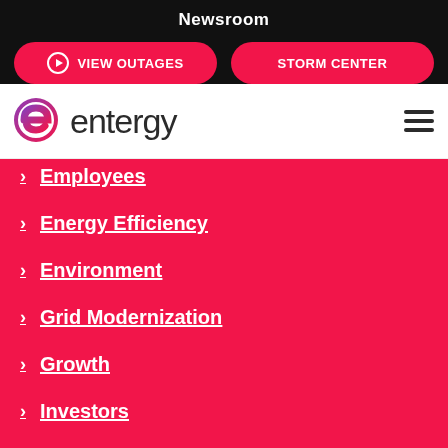Newsroom
VIEW OUTAGES
STORM CENTER
[Figure (logo): Entergy company logo with stylized 'e' icon and wordmark]
Employees
Energy Efficiency
Environment
Grid Modernization
Growth
Investors
Leadership
Safety